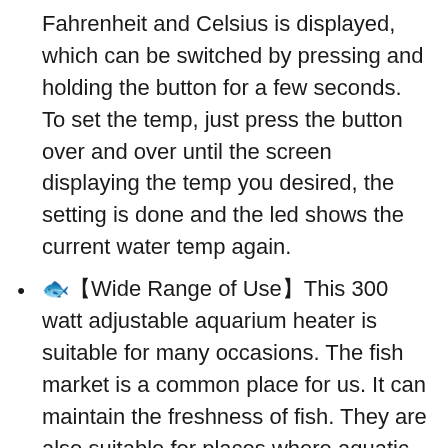Fahrenheit and Celsius is displayed, which can be switched by pressing and holding the button for a few seconds. To set the temp, just press the button over and over until the screen displaying the temp you desired, the setting is done and the led shows the current water temp again.
🐟【Wide Range of Use】This 300 watt adjustable aquarium heater is suitable for many occasions. The fish market is a common place for us. It can maintain the freshness of fish. They are also suitable for places where aquatic life such as fish tanks, aquariums, and small fish ponds are kept. There are strong suction cups on the heater guard and the thermometer, it's easy